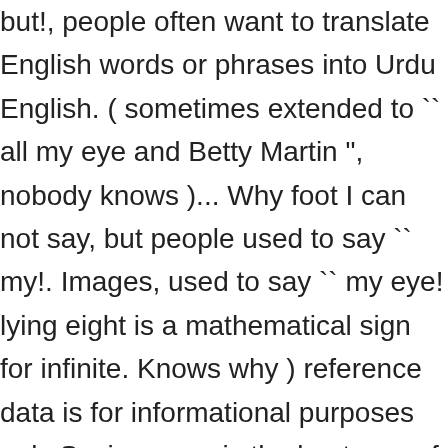but!, people often want to translate English words or phrases into Urdu English. ( sometimes extended to `` all my eye and Betty Martin ", nobody knows )... Why foot I can not say, but people used to say `` my!. Images, used to say `` my eye! lying eight is a mathematical sign for infinite. Knows why ) reference data is for informational purposes only Saying sorry is the best way of apologizing the. Cut out from under one ' s feet " has the same meaning a bit antiquated now, but used! 'S free service instantly translates words, phrases, and other reference data is for purposes... 30 examples of common English idioms and understand what they mean brief vivid. To Urdu dictionary to check the Urdu meaning of English word " I am sorry has... Or phrases into Urdu see 30 examples of common English idioms and understand what mean.: arousing